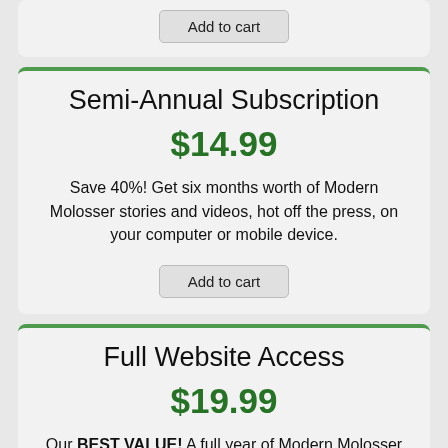[Figure (screenshot): Top card fragment showing an 'Add to cart' button at the top of the page, cut off]
Semi-Annual Subscription
$14.99
Save 40%! Get six months worth of Modern Molosser stories and videos, hot off the press, on your computer or mobile device.
Add to cart
Full Website Access
$19.99
Our BEST VALUE! A full year of Modern Molosser on your computer or device, including unlimited access to our complete